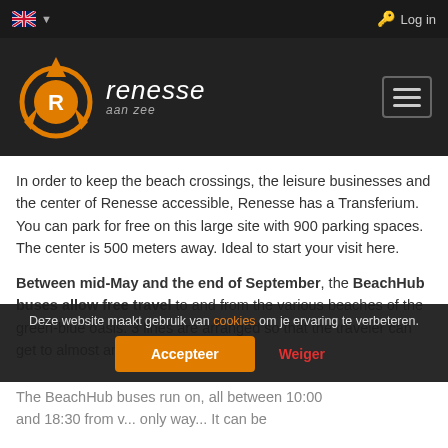Log in
[Figure (logo): Renesse aan zee logo with orange compass/arrow emblem and navigation hamburger menu button]
In order to keep the beach crossings, the leisure businesses and the center of Renesse accessible, Renesse has a Transferium. You can park for free on this large site with 900 parking spaces. The center is 500 meters away. Ideal to start your visit here.
Between mid-May and the end of September, the BeachHub buses allow free travel to and from the various beaches of the green-blue oasis. 3 lines are arranged so that the traveler can get to almost anywhere
The BeachHub buses run on all between 10:00 and 18:30 from v... only way... It can be
Deze website maakt gebruik van cookies om je ervaring te verbeteren.